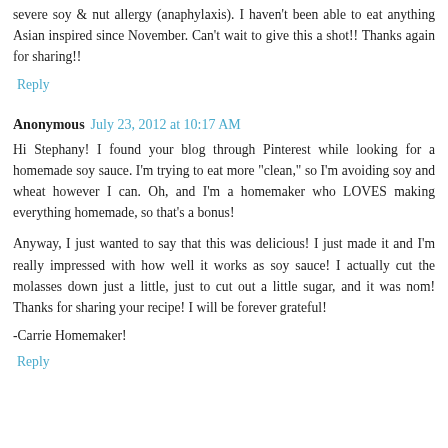severe soy & nut allergy (anaphylaxis). I haven't been able to eat anything Asian inspired since November. Can't wait to give this a shot!! Thanks again for sharing!!
Reply
Anonymous  July 23, 2012 at 10:17 AM
Hi Stephany! I found your blog through Pinterest while looking for a homemade soy sauce. I'm trying to eat more "clean," so I'm avoiding soy and wheat however I can. Oh, and I'm a homemaker who LOVES making everything homemade, so that's a bonus!
Anyway, I just wanted to say that this was delicious! I just made it and I'm really impressed with how well it works as soy sauce! I actually cut the molasses down just a little, just to cut out a little sugar, and it was nom! Thanks for sharing your recipe! I will be forever grateful!
-Carrie Homemaker!
Reply